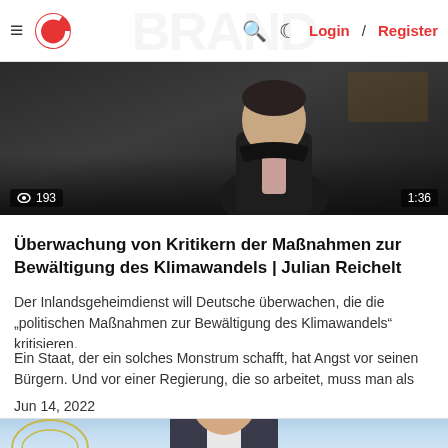≡ [Logo] 🔍 ☾ Login / Register
[Figure (screenshot): Video thumbnail showing a person in dark clothing against a dark background. Views badge shows '193' and duration badge shows '1:36'.]
Überwachung von Kritikern der Maßnahmen zur Bewältigung des Klimawandels | Julian Reichelt
Der Inlandsgeheimdienst will Deutsche überwachen, die die „politischen Maßnahmen zur Bewältigung des Klimawandels" kritisieren.
Ein Staat, der ein solches Monstrum schafft, hat Angst vor seinen Bürgern. Und vor einer Regierung, die so arbeitet, muss man als
Jun 14, 2022
[Figure (screenshot): Video thumbnail showing a man with glasses and short hair in front of a light blue background with the Reichstag dome visible in the lower left.]